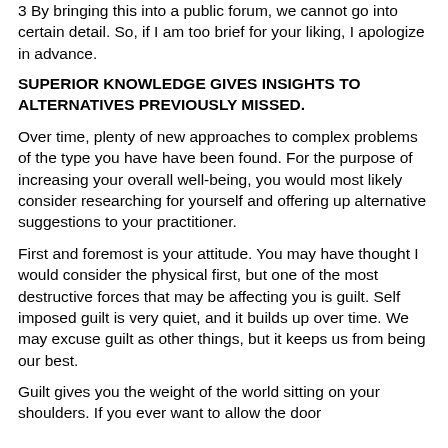3 By bringing this into a public forum, we cannot go into certain detail. So, if I am too brief for your liking, I apologize in advance.
SUPERIOR KNOWLEDGE GIVES INSIGHTS TO ALTERNATIVES PREVIOUSLY MISSED.
Over time, plenty of new approaches to complex problems of the type you have have been found. For the purpose of increasing your overall well-being, you would most likely consider researching for yourself and offering up alternative suggestions to your practitioner.
First and foremost is your attitude. You may have thought I would consider the physical first, but one of the most destructive forces that may be affecting you is guilt. Self imposed guilt is very quiet, and it builds up over time. We may excuse guilt as other things, but it keeps us from being our best.
Guilt gives you the weight of the world sitting on your shoulders. If you ever want to allow the door